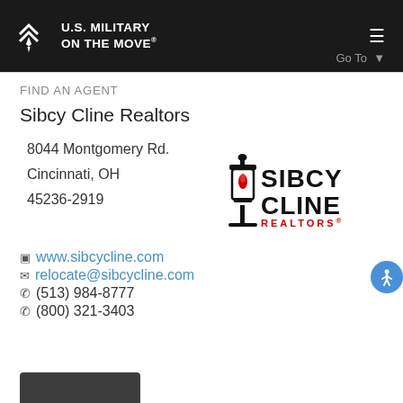U.S. MILITARY ON THE MOVE
FIND AN AGENT
Sibcy Cline Realtors
8044 Montgomery Rd.
Cincinnati, OH
45236-2919
[Figure (logo): Sibcy Cline Realtors logo with lantern icon]
www.sibcycline.com
relocate@sibcycline.com
(513) 984-8777
(800) 321-3403